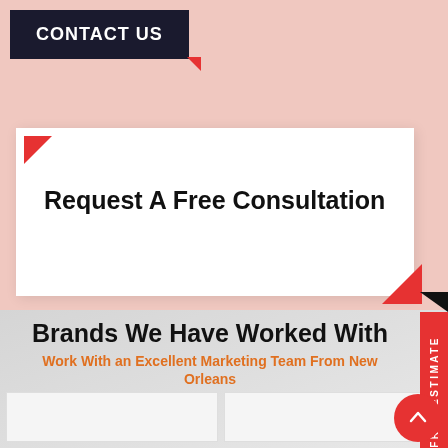CONTACT US
Request A Free Consultation
Brands We Have Worked With
Work With an Excellent Marketing Team From New Orleans
[Figure (other): Two rows of logo placeholder boxes for brand partners]
FREE ESTIMATE